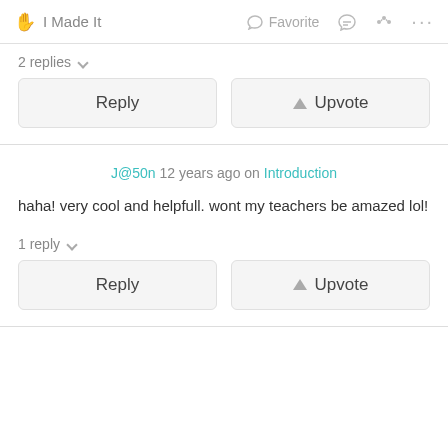I Made It   Favorite
2 replies
Reply   Upvote
J@50n 12 years ago on Introduction
haha! very cool and helpfull. wont my teachers be amazed lol!
1 reply
Reply   Upvote